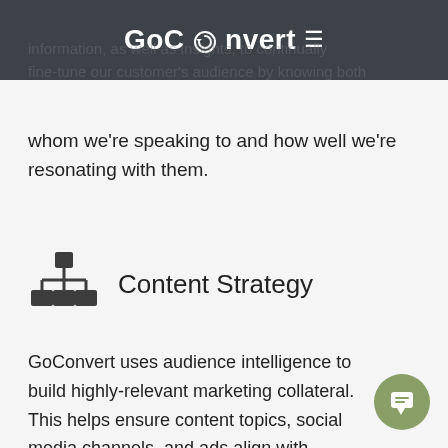GoConvert
information, as well as insights, to continually fine-tune our customer's audience by knowing both whom we're speaking to and how well we're resonating with them.
Content Strategy
GoConvert uses audience intelligence to build highly-relevant marketing collateral. This helps ensure content topics, social media channels, and ads align with known audience variables. Now, marketing spending has the potential to generate exponential returns.